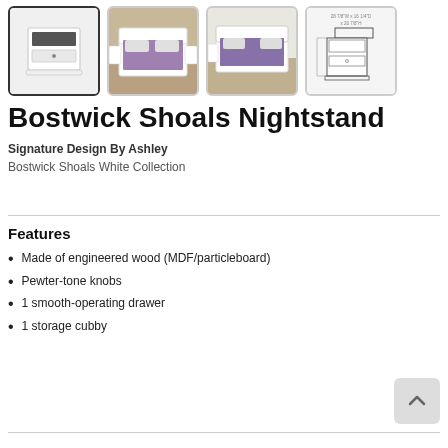[Figure (photo): Four product thumbnail images of the Bostwick Shoals Nightstand: first shows the white nightstand alone (selected/highlighted), second shows bedroom set environment, third shows another bedroom environment view, fourth shows a technical/dimensions line drawing.]
Bostwick Shoals Nightstand
Signature Design By Ashley
Bostwick Shoals White Collection
Features
Made of engineered wood (MDF/particleboard)
Pewter-tone knobs
1 smooth-operating drawer
1 storage cubby